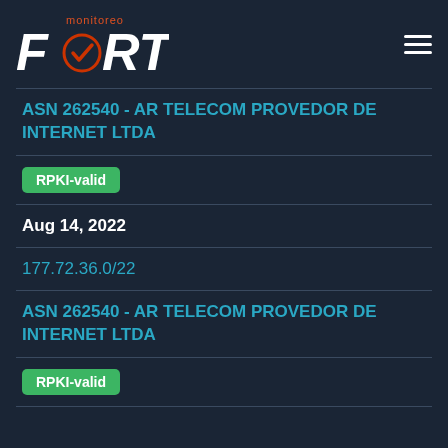[Figure (logo): FORT Monitoreo logo with checkmark in O, hamburger menu icon top right]
ASN 262540 - AR TELECOM PROVEDOR DE INTERNET LTDA
RPKI-valid
Aug 14, 2022
177.72.36.0/22
ASN 262540 - AR TELECOM PROVEDOR DE INTERNET LTDA
RPKI-valid